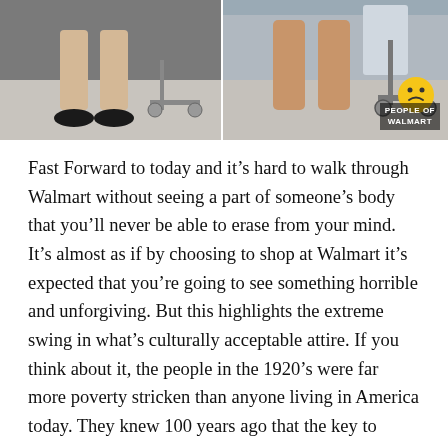[Figure (photo): Two side-by-side photos showing people's legs in a Walmart store setting. Left photo shows a person in dark shoes with a shopping cart visible. Right photo shows bare legs near shopping carts. A 'People of Walmart' watermark appears in the bottom-right corner.]
Fast Forward to today and it’s hard to walk through Walmart without seeing a part of someone’s body that you’ll never be able to erase from your mind.  It’s almost as if by choosing to shop at Walmart it’s expected that you’re going to see something horrible and unforgiving. But this highlights the extreme swing in what’s culturally acceptable attire. If you think about it, the people in the 1920’s were far more poverty stricken than anyone living in America today. They knew 100 years ago that the key to success in any socioeconomic level was leaving the house looking your best. The poorest kid on the street still owned a suit.
If you’ve made it to this point you’re probably thinking...